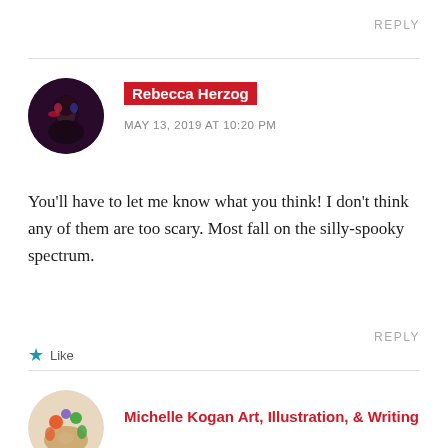REPLY
Rebecca Herzog
MAY 13, 2019 AT 10:20 PM
You'll have to let me know what you think! I don't think any of them are too scary. Most fall on the silly-spooky spectrum.
Like
REPLY
Michelle Kogan Art, Illustration, & Writing